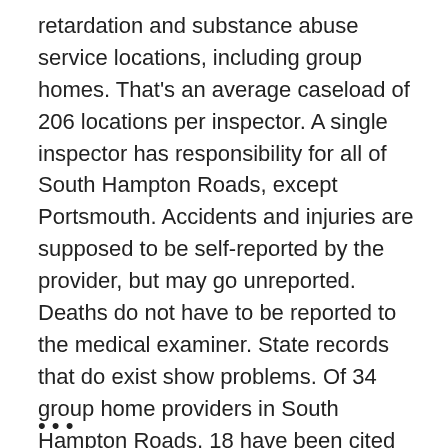retardation and substance abuse service locations, including group homes. That's an average caseload of 206 locations per inspector. A single inspector has responsibility for all of South Hampton Roads, except Portsmouth. Accidents and injuries are supposed to be self-reported by the provider, but may go unreported. Deaths do not have to be reported to the medical examiner. State records that do exist show problems. Of 34 group home providers in South Hampton Roads, 18 have been cited for state licensing violations and 11 for client abuse or neglect in the past three years. The state has legal authority to fine violators but never has done so. Only one provider's license has been revoked in the past three years. [Internet Access: http://www.hamptonroads.com/pilotonline/]